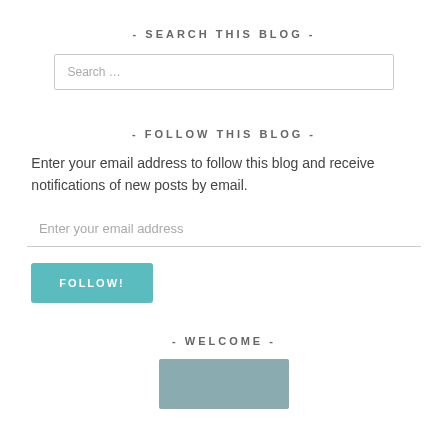- SEARCH THIS BLOG -
Search …
- FOLLOW THIS BLOG -
Enter your email address to follow this blog and receive notifications of new posts by email.
Enter your email address
FOLLOW!
- WELCOME -
[Figure (photo): Partial photo of a person, cropped at the bottom of the page]